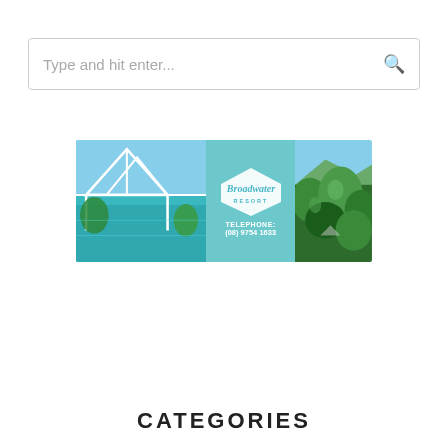Type and hit enter...
[Figure (photo): Broadwater Resort advertisement banner showing resort pool area on the left, Broadwater Resort diamond logo with telephone number (08) 9754 1633 in the center on teal background, and lush garden/tropical vegetation on the right]
CATEGORIES